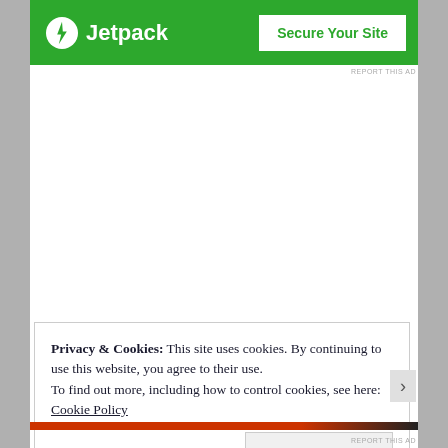[Figure (screenshot): Jetpack advertisement banner with green background, Jetpack logo (lightning bolt icon) on left, and 'Secure Your Site' button on right]
REPORT THIS AD
Privacy & Cookies: This site uses cookies. By continuing to use this website, you agree to their use.
To find out more, including how to control cookies, see here: Cookie Policy
Close and accept
REPORT THIS AD